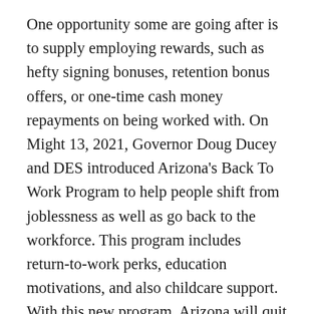One opportunity some are going after is to supply employing rewards, such as hefty signing bonuses, retention bonus offers, or one-time cash money repayments on being worked with. On Might 13, 2021, Governor Doug Ducey and DES introduced Arizona's Back To Work Program to help people shift from joblessness as well as go back to the workforce. This program includes return-to-work perks, education motivations, and also childcare support. With this new program, Arizona will quit carrying out the federal government's supplementary pandemic unemployment insurance efficient Saturday, July 10, 2021. Company Incentives Plus, carried out by HRA Organization Web link, supplies monetary incentives to